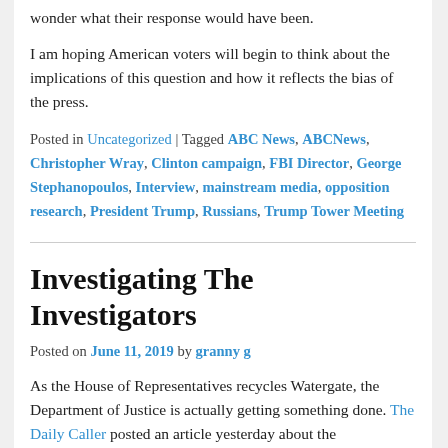wonder what their response would have been.
I am hoping American voters will begin to think about the implications of this question and how it reflects the bias of the press.
Posted in Uncategorized | Tagged ABC News, ABCNews, Christopher Wray, Clinton campaign, FBI Director, George Stephanopoulos, Interview, mainstream media, opposition research, President Trump, Russians, Trump Tower Meeting
Investigating The Investigators
Posted on June 11, 2019 by granny g
As the House of Representatives recycles Watergate, the Department of Justice is actually getting something done. The Daily Caller posted an article yesterday about the